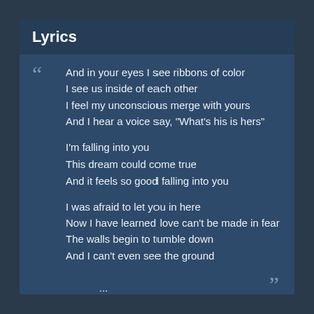Lyrics
And in your eyes I see ribbons of color
I see us inside of each other
I feel my unconscious merge with yours
And I hear a voice say, "What's his is hers"

I'm falling into you
This dream could come true
And it feels so good falling into you

I was afraid to let you in here
Now I have learned love can't be made in fear
The walls begin to tumble down
And I can't even see the ground

...